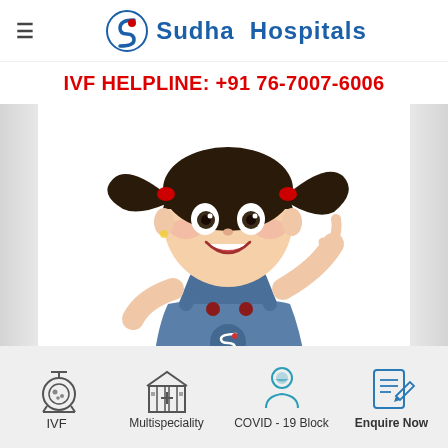Sudha Hospitals
IVF HELPLINE: +91 76-7007-6006
[Figure (illustration): 3D cartoon illustration of a smiling young girl with pigtails wearing denim overalls with a Sudha Hospitals logo on it, raising one finger, set against a white background]
IVF
Multispeciality
COVID - 19 Block
Enquire Now